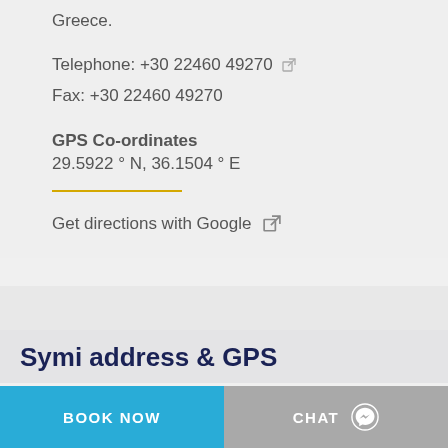Greece.
Telephone: +30 22460 49270 [external link]
Fax: +30 22460 49270
GPS Co-ordinates
29.5922 ° N, 36.1504 ° E
Get directions with Google [external link]
Symi address & GPS
BOOK NOW
CHAT